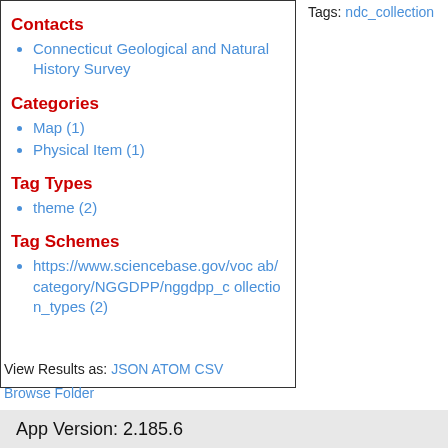Contacts
Connecticut Geological and Natural History Survey
Categories
Map (1)
Physical Item (1)
Tag Types
theme (2)
Tag Schemes
https://www.sciencebase.gov/vocab/category/NGGDPP/nggdpp_collection_types (2)
Tags: ndc_collection
View Results as: JSON ATOM CSV
Browse Folder
App Version: 2.185.6